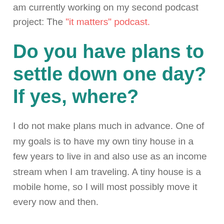am currently working on my second podcast project: The "it matters" podcast.
Do you have plans to settle down one day? If yes, where?
I do not make plans much in advance. One of my goals is to have my own tiny house in a few years to live in and also use as an income stream when I am traveling. A tiny house is a mobile home, so I will most possibly move it every now and then.